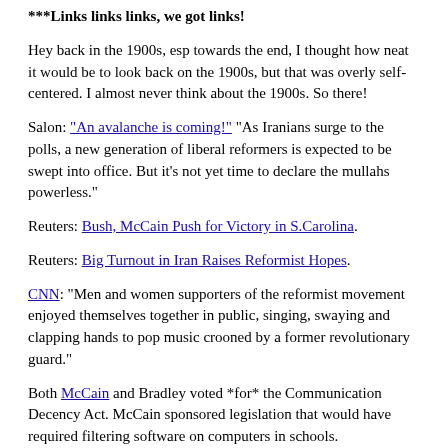***Links links links, we got links!
Hey back in the 1900s, esp towards the end, I thought how neat it would be to look back on the 1900s, but that was overly self-centered. I almost never think about the 1900s. So there!
Salon: "An avalanche is coming!" "As Iranians surge to the polls, a new generation of liberal reformers is expected to be swept into office. But it's not yet time to declare the mullahs powerless."
Reuters: Bush, McCain Push for Victory in S.Carolina.
Reuters: Big Turnout in Iran Raises Reformist Hopes.
CNN: "Men and women supporters of the reformist movement enjoyed themselves together in public, singing, swaying and clapping hands to pop music crooned by a former revolutionary guard."
Both McCain and Bradley voted *for* the Communication Decency Act. McCain sponsored legislation that would have required filtering software on computers in schools.